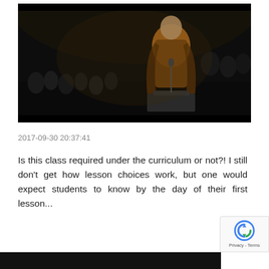[Figure (screenshot): Dark cinematic still from a film or TV show showing a man in academic robes speaking at a podium to a large crowd in a dark hall]
2017-09-30 20:37:41
Is this class required under the curriculum or not?! I still don't get how lesson choices work, but one would expect students to know by the day of their first lesson...
[Figure (screenshot): Partial black bar at the bottom of the page suggesting another image below]